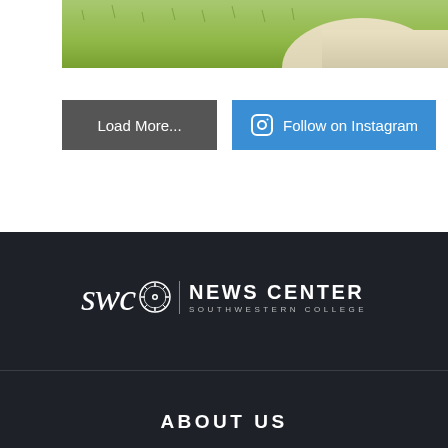[Figure (photo): Partial view of grassy area with a light-colored path, cropped at top]
Load More...
Follow on Instagram
[Figure (logo): SWC News Center - Southwestern College logo in white on dark background, with stylized SWC script and compass emblem]
ABOUT US